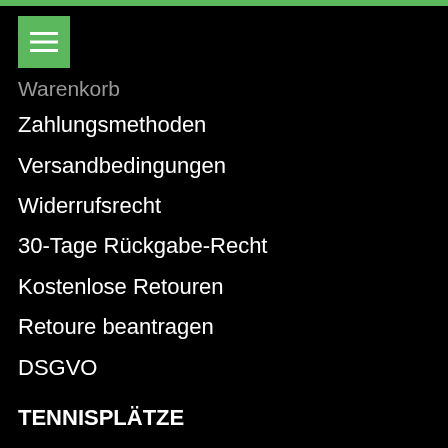[Figure (other): Green top navigation bar stripe]
[Figure (other): Green hamburger menu button with three white horizontal lines]
Warenkorb
Zahlungsmethoden
Versandbedingungen
Widerrufsrecht
30-Tage Rückgabe-Recht
Kostenlose Retouren
Retoure beantragen
DSGVO
TENNISPLÄTZE
Ganzjahresplätze